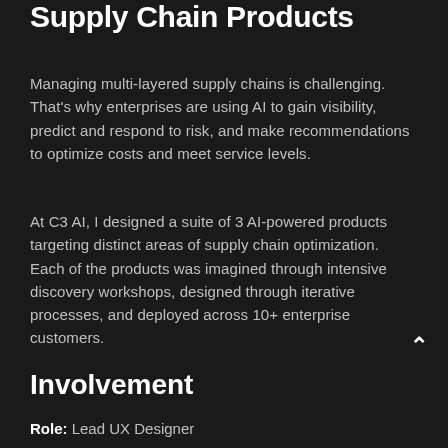Supply Chain Products
Managing multi-layered supply chains is challenging. That's why enterprises are using AI to gain visibility, predict and respond to risk, and make recommendations to optimize costs and meet service levels.
At C3 AI, I designed a suite of 3 AI-powered products targeting distinct areas of supply chain optimization. Each of the products was imagined through intensive discovery workshops, designed through iterative processes, and deployed across 10+ enterprise customers.
Involvement
Role: Lead UX Designer